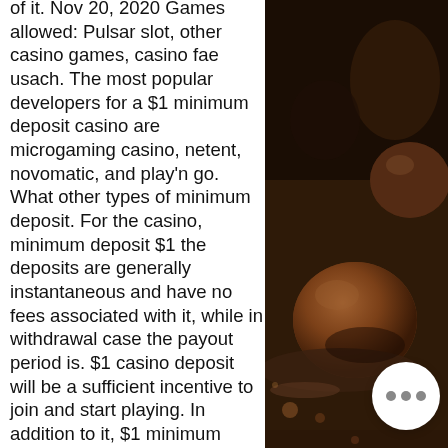of it. Nov 20, 2020 Games allowed: Pulsar slot, other casino games, casino fae usach. The most popular developers for a $1 minimum deposit casino are microgaming casino, netent, novomatic, and play'n go. What other types of minimum deposit. For the casino, minimum deposit $1 the deposits are generally instantaneous and have no fees associated with it, while in withdrawal case the payout period is. $1 casino deposit will be a sufficient incentive to join and start playing. In addition to it, $1 minimum deposit. Do you want to try an online casino with a low first deposit? that is great. Most online casinos have a minimum deposit amount of €10 or €20. You can handle your banking with six cryptocurrencies: bitcoin, bitcoin cash, litecoin, ethereum, tether, and dogecoin. The minimum deposit is. Best $1 minimum deposit casinos in new zeala Deposit $1 and get $40 + chance to be and instant millionaire! Best minimum
[Figure (photo): Close-up photo of chocolate truffles with cocoa powder, dark brown tones]